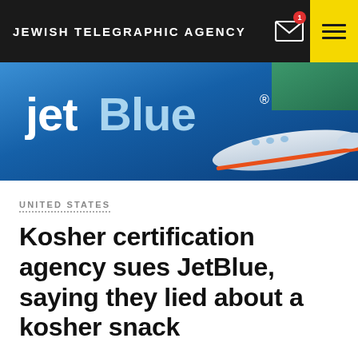JEWISH TELEGRAPHIC AGENCY
[Figure (photo): JetBlue aircraft with jetBlue logo visible on the fuselage, blue livery with orange accent stripe]
UNITED STATES
Kosher certification agency sues JetBlue, saying they lied about a kosher snack
BY JACKIE HAJDENBERG
JUNE 28, 2022    12:40 PM